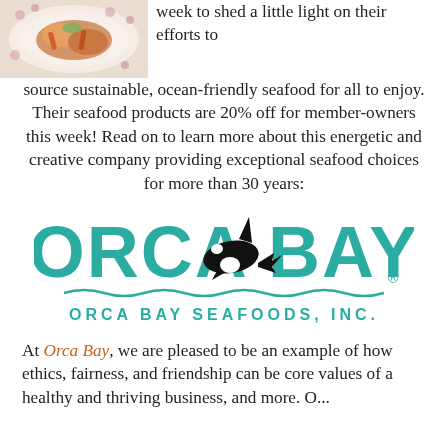[Figure (photo): Photo of a seafood dish served on a floral plate, visible in top-left corner]
week to shed a little light on their efforts to source sustainable, ocean-friendly seafood for all to enjoy. Their seafood products are 20% off for member-owners this week! Read on to learn more about this energetic and creative company providing exceptional seafood choices for more than 30 years:
[Figure (logo): Orca Bay Seafoods Inc. logo featuring large teal text 'ORCA BAY' with an orca whale graphic and wavy underline, and subtitle 'ORCA BAY SEAFOODS, INC.' below]
At Orca Bay, we are pleased to be an example of how ethics, fairness, and friendship can be core values of a healthy and thriving business — and more. Our...